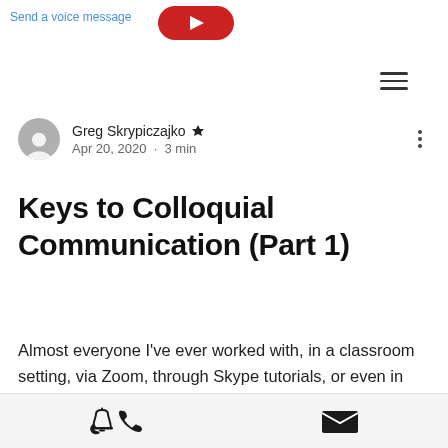Send a voice message
Greg Skrypiczajko 🛡 Admin
Apr 20, 2020 · 3 min
Keys to Colloquial Communication (Part 1)
Almost everyone I've ever worked with, in a classroom setting, via Zoom, through Skype tutorials, or even in back-and-forth conversations via email, has told me that they struggle to